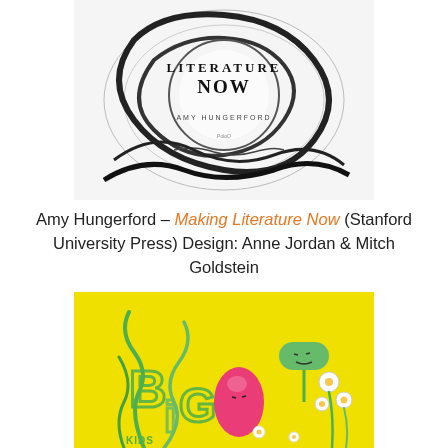[Figure (photo): Book cover of 'Making Literature Now' by Amy Hungerford, published by Stanford University Press. Black and white swirling abstract design with the title and author name visible.]
Amy Hungerford – Making Literature Now (Stanford University Press) Design: Anne Jordan & Mitch Goldstein
[Figure (illustration): Book cover with bright yellow background featuring hand-drawn style illustrations of plants, flowers, and abstract shapes in green, pink, and white. Text 'Big Kids' visible.]